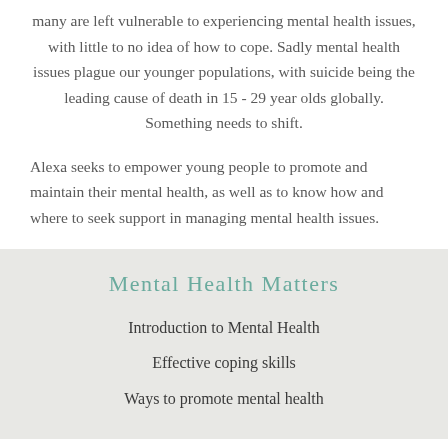many are left vulnerable to experiencing mental health issues, with little to no idea of how to cope. Sadly mental health issues plague our younger populations, with suicide being the leading cause of death in 15 - 29 year olds globally. Something needs to shift.
Alexa seeks to empower young people to promote and maintain their mental health, as well as to know how and where to seek support in managing mental health issues.
Mental Health Matters
Introduction to Mental Health
Effective coping skills
Ways to promote mental health